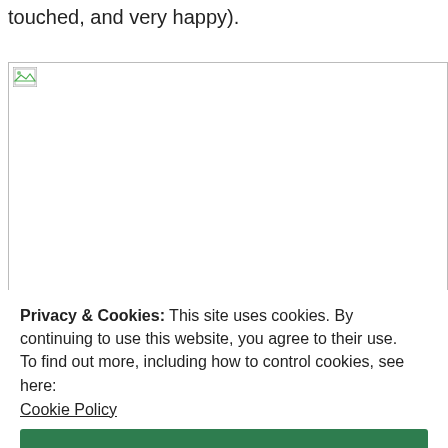touched, and very happy).
[Figure (photo): Broken/unloaded image placeholder with small icon in top-left corner]
Privacy & Cookies: This site uses cookies. By continuing to use this website, you agree to their use.
To find out more, including how to control cookies, see here:
Cookie Policy
We then watched a nice British film called "I Capture th... e... but still, it was much better than most family films I can
Close and accept